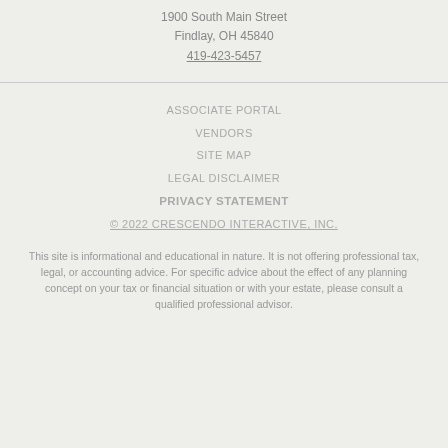1900 South Main Street
Findlay, OH 45840
419-423-5457
ASSOCIATE PORTAL
VENDORS
SITE MAP
LEGAL DISCLAIMER
PRIVACY STATEMENT
© 2022 CRESCENDO INTERACTIVE, INC.
This site is informational and educational in nature. It is not offering professional tax, legal, or accounting advice. For specific advice about the effect of any planning concept on your tax or financial situation or with your estate, please consult a qualified professional advisor.